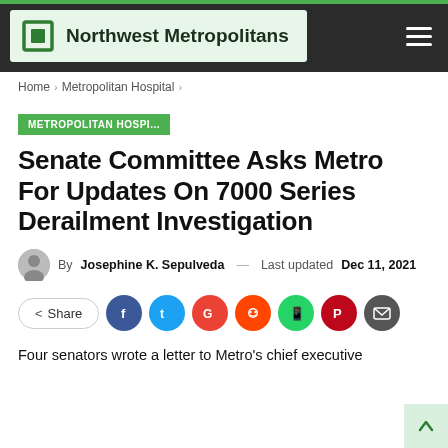Northwest Metropolitans
Home > Metropolitan Hospital >
METROPOLITAN HOSPI...
Senate Committee Asks Metro For Updates On 7000 Series Derailment Investigation
By Josephine K. Sepulveda — Last updated Dec 11, 2021
Share (social share buttons: Facebook, Twitter, Google, Reddit, WhatsApp, Pinterest, Email)
Four senators wrote a letter to Metro's chief executive